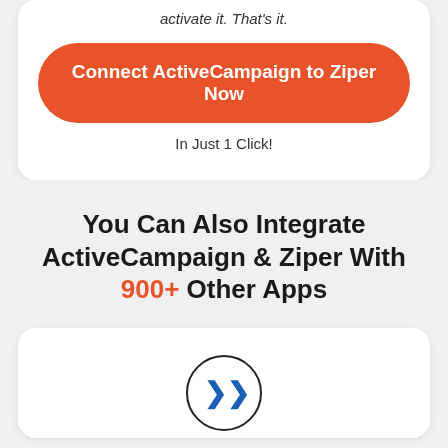activate it. That's it.
Connect ActiveCampaign to Ziper Now
In Just 1 Click!
You Can Also Integrate ActiveCampaign & Ziper With 900+ Other Apps
[Figure (other): A circle with a right-pointing chevron arrow icon inside, suggesting a navigation or play button]